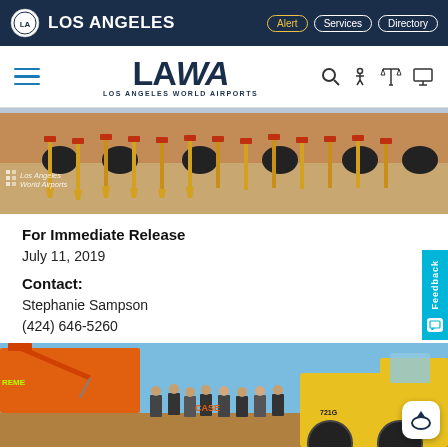LOS ANGELES | Alert | Services | Directory
LAWA LOS ANGELES WORLD AIRPORTS
[Figure (photo): Row of golden shovels stuck in dirt with orange construction equipment in background, Los Angeles World Airports groundbreaking ceremony]
For Immediate Release
July 11, 2019
Contact:
Stephanie Sampson
(424) 646-5260
[Figure (photo): Construction equipment including orange crane/excavator labeled EXTREME and a yellow Doosan 721G loader, with a group of people in suits standing in front for a groundbreaking ceremony]